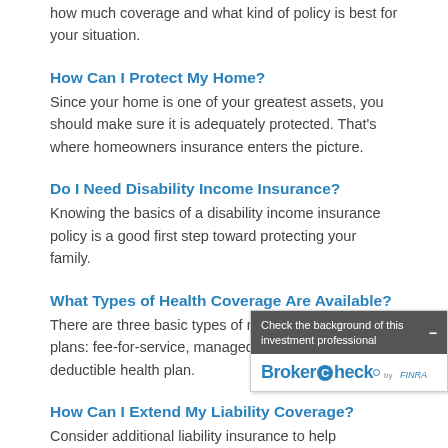how much coverage and what kind of policy is best for your situation.
How Can I Protect My Home?
Since your home is one of your greatest assets, you should make sure it is adequately protected. That's where homeowners insurance enters the picture.
Do I Need Disability Income Insurance?
Knowing the basics of a disability income insurance policy is a good first step toward protecting your family.
What Types of Health Coverage Are Available?
There are three basic types of medical insurance plans: fee-for-service, managed care, and high-deductible health plan.
How Can I Extend My Liability Coverage?
Consider additional liability insurance to help